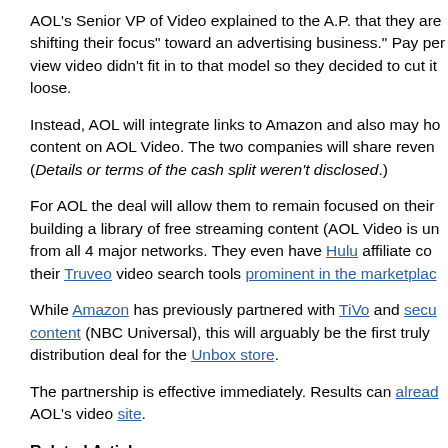AOL's Senior VP of Video explained to the A.P. that they are shifting their focus" toward an advertising business." Pay per view video didn't fit in to that model so they decided to cut it loose.
Instead, AOL will integrate links to Amazon and also may ho content on AOL Video. The two companies will share reven (Details or terms of the cash split weren’t disclosed.)
For AOL the deal will allow them to remain focused on their building a library of free streaming content (AOL Video is un from all 4 major networks. They even have Hulu affiliate co their Truveo video search tools prominent in the marketplac
While Amazon has previously partnered with TiVo and secu content (NBC Universal), this will arguably be the first truly distribution deal for the Unbox store.
The partnership is effective immediately. Results can alread AOL’s video site.
Related Articles
•Amazon Unbox Shakes Hands with NBC Universal
•Hulu Pulls into Beta...